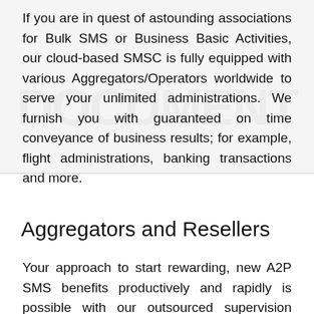If you are in quest of astounding associations for Bulk SMS or Business Basic Activities, our cloud-based SMSC is fully equipped with various Aggregators/Operators worldwide to serve your unlimited administrations. We furnish you with guaranteed on time conveyance of business results; for example, flight administrations, banking transactions and more.
Aggregators and Resellers
Your approach to start rewarding, new A2P SMS benefits productively and rapidly is possible with our outsourced supervision informant administration. Utilize our conventions and portals to unite each of your esteemed